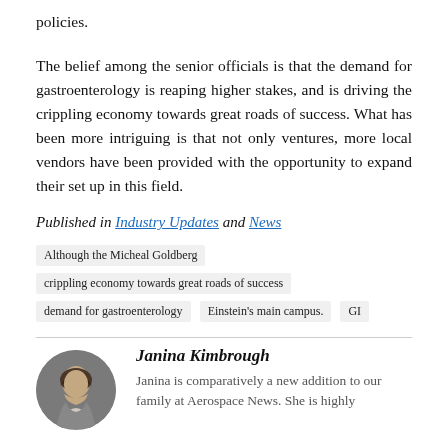policies.
The belief among the senior officials is that the demand for gastroenterology is reaping higher stakes, and is driving the crippling economy towards great roads of success. What has been more intriguing is that not only ventures, more local vendors have been provided with the opportunity to expand their set up in this field.
Published in Industry Updates and News
Although the Micheal Goldberg
crippling economy towards great roads of success
demand for gastroenterology
Einstein's main campus.
GI
Janina Kimbrough
Janina is comparatively a new addition to our family at Aerospace News. She is highly